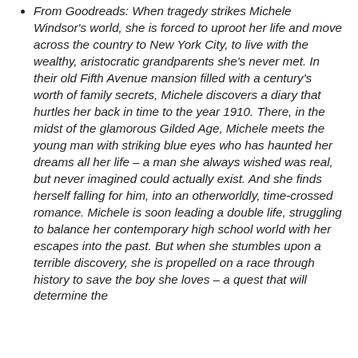From Goodreads: When tragedy strikes Michele Windsor's world, she is forced to uproot her life and move across the country to New York City, to live with the wealthy, aristocratic grandparents she's never met. In their old Fifth Avenue mansion filled with a century's worth of family secrets, Michele discovers a diary that hurtles her back in time to the year 1910. There, in the midst of the glamorous Gilded Age, Michele meets the young man with striking blue eyes who has haunted her dreams all her life – a man she always wished was real, but never imagined could actually exist. And she finds herself falling for him, into an otherworldly, time-crossed romance. Michele is soon leading a double life, struggling to balance her contemporary high school world with her escapes into the past. But when she stumbles upon a terrible discovery, she is propelled on a race through history to save the boy she loves – a quest that will determine the